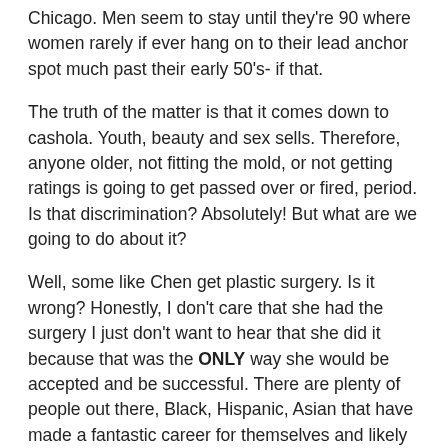Chicago. Men seem to stay until they're 90 where women rarely if ever hang on to their lead anchor spot much past their early 50's- if that.
The truth of the matter is that it comes down to cashola. Youth, beauty and sex sells. Therefore, anyone older, not fitting the mold, or not getting ratings is going to get passed over or fired, period. Is that discrimination? Absolutely! But what are we going to do about it?
Well, some like Chen get plastic surgery. Is it wrong? Honestly, I don't care that she had the surgery I just don't want to hear that she did it because that was the ONLY way she would be accepted and be successful. There are plenty of people out there, Black, Hispanic, Asian that have made a fantastic career for themselves and likely without surgery.